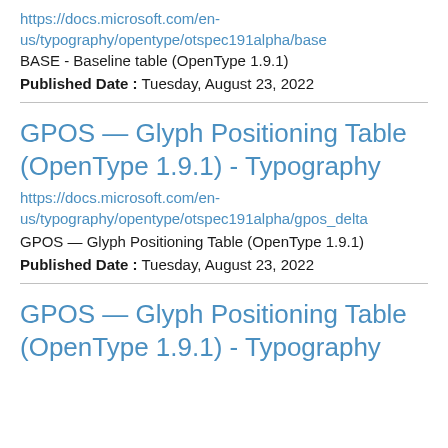https://docs.microsoft.com/en-us/typography/opentype/otspec191alpha/base
BASE - Baseline table (OpenType 1.9.1)
Published Date : Tuesday, August 23, 2022
GPOS — Glyph Positioning Table (OpenType 1.9.1) - Typography
https://docs.microsoft.com/en-us/typography/opentype/otspec191alpha/gpos_delta
GPOS — Glyph Positioning Table (OpenType 1.9.1)
Published Date : Tuesday, August 23, 2022
GPOS — Glyph Positioning Table (OpenType 1.9.1) - Typography